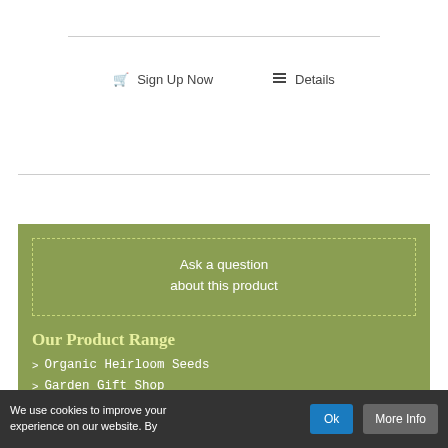Sign Up Now
Details
Ask a question about this product
Our Product Range
Organic Heirloom Seeds
Garden Gift Shop
Irish Heritage Apple Trees
We use cookies to improve your experience on our website. By
Ok
More Info